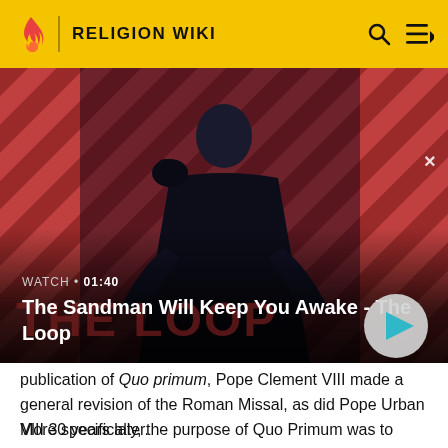RELIGION WIKI
[Figure (screenshot): Video banner showing a dark-cloaked figure with a raven on their shoulder against a red and dark diagonal striped background. Text overlay: WATCH • 01:40 / The Sandman Will Keep You Awake - The Loop. A circular play button is visible on the right.]
publication of Quo primum, Pope Clement VIII made a general revision of the Roman Missal, as did Pope Urban VIII 30 years later.
More specifically, the purpose of Quo Primum was to reinforce the canons and decrees of the Council of Trent